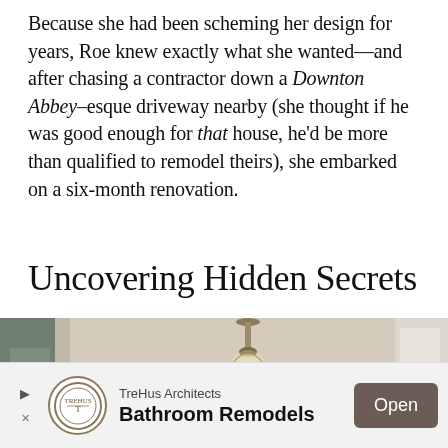Because she had been scheming her design for years, Roe knew exactly what she wanted—and after chasing a contractor down a Downton Abbey–esque driveway nearby (she thought if he was good enough for that house, he'd be more than qualified to remodel theirs), she embarked on a six-month renovation.
Uncovering Hidden Secrets
[Figure (photo): Interior photo of a home stairwell with a bare Edison bulb pendant light hanging from the ceiling, white trim, and dark stair railing visible against a beige/cream wall.]
TreHus Architects Bathroom Remodels — Open (advertisement banner)